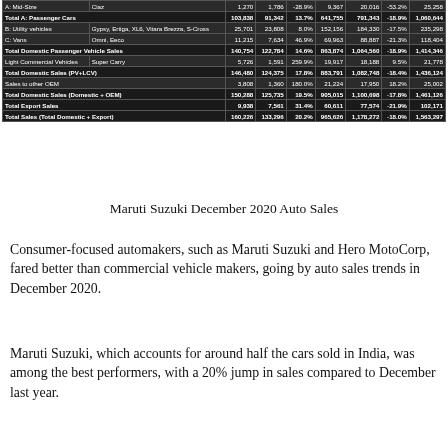| Category | Model | Dec 2020 | Dec 2019 | % Change | Apr-Dec 2020 | Apr-Dec 2019 | % Change | FY2020 |
| --- | --- | --- | --- | --- | --- | --- | --- | --- |
| A: Mid-Size | Ciaz | 1,270 | 1,786 | -28.9% | 9,367 | 20,016 | -53.2% | 25,258 |
| Total A: Passenger Cars |  | 103,838 | 91,342 | 13.7% | 641,755 | 791,343 | -18.9% | 1,060,644 |
| B: Utility vehicles | Gypsy, Ertiga, XL6, Vitara Brezza, S-Cross | 25,701 | 23,808 | 8.0% | 152,156 | 184,330 | -17.5% | 235,298 |
| C: Vans | Omni, Eeco | 11,215 | 7,634 | 46.9% | 69,963 | 88,887 | -21.3% | 118,404 |
| Total Domestic Passenger Vehicle Sales |  | 140,754 | 122,784 | 14.6% | 863,874 | 1,064,560 | -18.9% | 1,414,346 |
| Light Commercial Vehicles | Super Carry | 5,726 | 1,591 | 259.9% | 19,917 | 18,188 | 9.5% | 21,778 |
| Total Domestic Sales (PV+LCV) |  | 146,480 | 124,375 | 17.8% | 883,791 | 1,082,748 | -18.4% | 1,436,124 |
| Sales to other OEM |  | 3,808 | 1,360 | 180.0% | 21,224 | 17,950 | 18.2% | 25,002 |
| Total Domestic Sales (Domestic + OEM) |  | 150,288 | 125,735 | 19.5% | 905,015 | 1,100,698 | -17.8% | 1,461,126 |
| Total Export Sales |  | 9,938 | 7,561 | 31.4% | 60,611 | 77,574 | -21.9% | 102,171 |
| Total Sales (Total Domestic + Export) |  | 160,226 | 133,296 | 20.2% | 965,626 | 1,178,272 | -18.0% | 1,563,297 |
Maruti Suzuki December 2020 Auto Sales
Consumer-focused automakers, such as Maruti Suzuki and Hero MotoCorp, fared better than commercial vehicle makers, going by auto sales trends in December 2020.
Maruti Suzuki, which accounts for around half the cars sold in India, was among the best performers, with a 20% jump in sales compared to December last year.